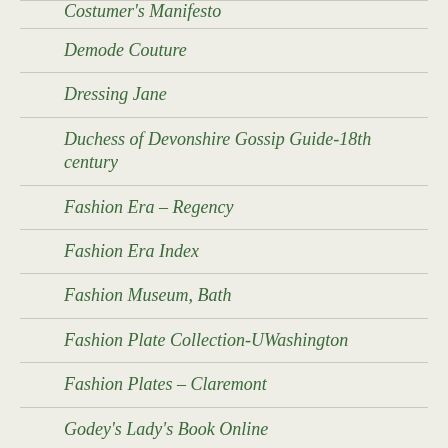Costumer's Manifesto
Demode Couture
Dressing Jane
Duchess of Devonshire Gossip Guide-18th century
Fashion Era – Regency
Fashion Era Index
Fashion Museum, Bath
Fashion Plate Collection-UWashington
Fashion Plates – Claremont
Godey's Lady's Book Online
Hair Exhibit – 1790-1840
History of Costume Index